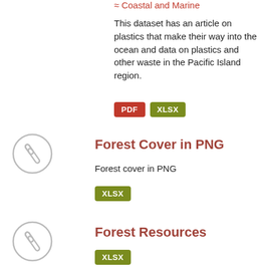Coastal and Marine
This dataset has an article on plastics that make their way into the ocean and data on plastics and other waste in the Pacific Island region.
PDF  XLSX
Forest Cover in PNG
Forest cover in PNG
XLSX
Forest Resources
XLSX